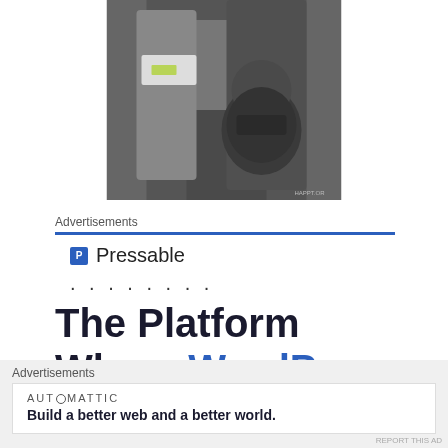[Figure (photo): Photo of people in Star Wars Boba Fett costume at what appears to be a convention or event. Watermark reads HAPPT.OR in lower right.]
Advertisements
P Pressable
. . . . . . . .
The Platform Where WordPress Works Best
Advertisements
AUTOMATTIC
Build a better web and a better world.
REPORT THIS AD